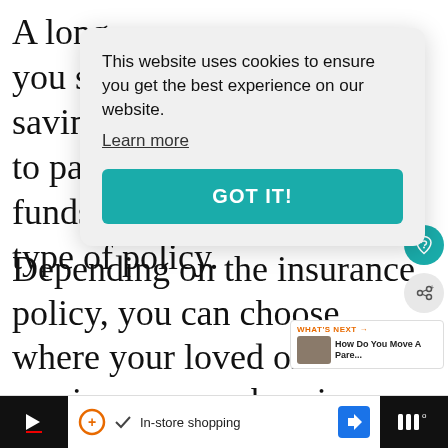A long- you sa savings to pay funds when you opt for this type of policy.
[Figure (screenshot): Cookie consent modal with text 'This website uses cookies to ensure you get the best experience on our website. Learn more' and a teal 'GOT IT!' button]
Depending on the insurance policy, you can choose where your loved one will receive care, such as in a nursing assisted living center, or their own home.
[Figure (screenshot): Bottom advertisement bar with In-store shopping text and navigation icons]